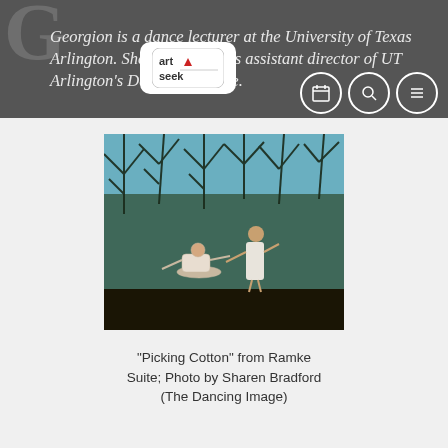Georgion is a dance lecturer at the University of Texas Arlington. She also serves as assistant director of UT Arlington's Dance Ensemble.
[Figure (photo): Two dancers on stage performing 'Picking Cotton' from Ramke Suite. One dancer is bent low in a crouching position, the other stands and reaches out. Background shows projected tree silhouettes on a blue backdrop.]
"Picking Cotton" from Ramke Suite; Photo by Sharen Bradford (The Dancing Image)